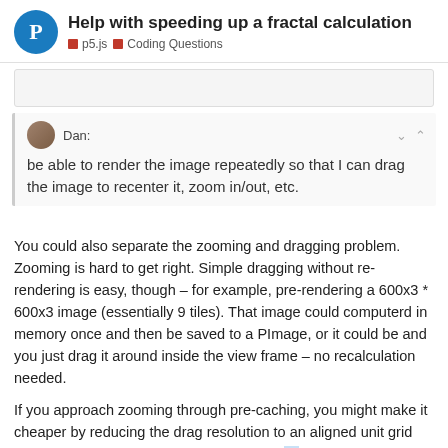Help with speeding up a fractal calculation
p5.js  Coding Questions
[Figure (other): Empty code block area]
Dan:
be able to render the image repeatedly so that I can drag the image to recenter it, zoom in/out, etc.
You could also separate the zooming and dragging problem. Zooming is hard to get right. Simple dragging without re-rendering is easy, though – for example, pre-rendering a 600x3 * 600x3 image (essentially 9 tiles). That image could computerd in memory once and then be saved to a PImage, or it could be and you just drag it around inside the view frame – no recalculation needed.
If you approach zooming through pre-caching, you might make it cheaper by reducing the drag resolution to an aligned unit grid and reducing zoom to a set of specific sca… have fewer potential zoom points, and few…